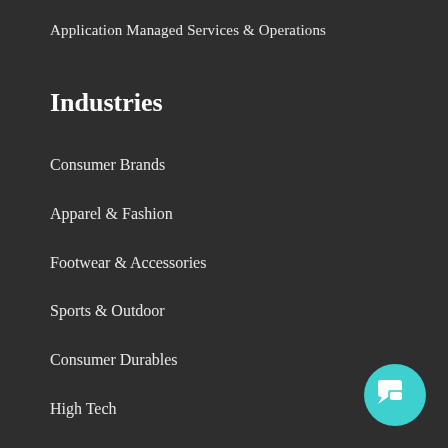Application Managed Services & Operations
Industries
Consumer Brands
Apparel & Fashion
Footwear & Accessories
Sports & Outdoor
Consumer Durables
High Tech
Chemicals
[Figure (illustration): Teal circular chat bubble icon in the bottom-right corner]